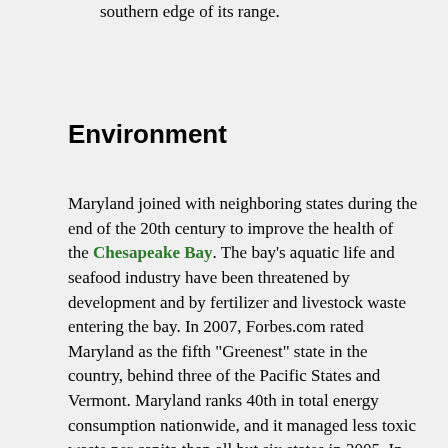southern edge of its range.
Environment
Maryland joined with neighboring states during the end of the 20th century to improve the health of the Chesapeake Bay. The bay's aquatic life and seafood industry have been threatened by development and by fertilizer and livestock waste entering the bay. In 2007, Forbes.com rated Maryland as the fifth "Greenest" state in the country, behind three of the Pacific States and Vermont. Maryland ranks 40th in total energy consumption nationwide, and it managed less toxic waste per capita than all but six states in 2005. In April 2007, Maryland joined the Regional Greenhouse Gas Initiative (RGGI) — a regional initiative, formed by all the Northeastern states, Washington, D.C., and three Canadian provinces, to reduce greenhouse gas emissions. In March 2017, Maryland became the first state with proven gas reserves to ban fracking by passing a law against it. Vermont has such a law, but no